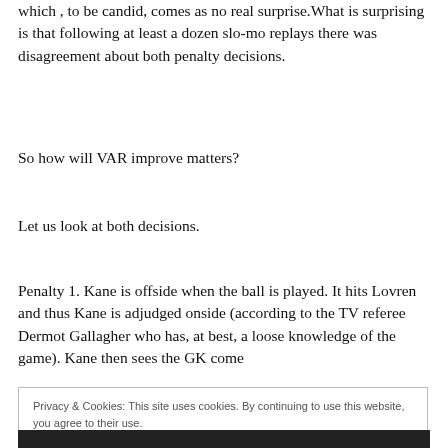which , to be candid, comes as no real surprise.What is surprising is that following at least a dozen slo-mo replays there was disagreement about both penalty decisions.
So how will VAR improve matters?
Let us look at both decisions.
Penalty 1. Kane is offside when the ball is played. It hits Lovren and thus Kane is adjudged onside (according to the TV referee Dermot Gallagher who has, at best, a loose knowledge of the game). Kane then sees the GK come
Privacy & Cookies: This site uses cookies. By continuing to use this website, you agree to their use.
To find out more, including how to control cookies, see here: Cookie Policy
Close and accept
[Figure (photo): Dark image at the bottom of the page, partially visible]